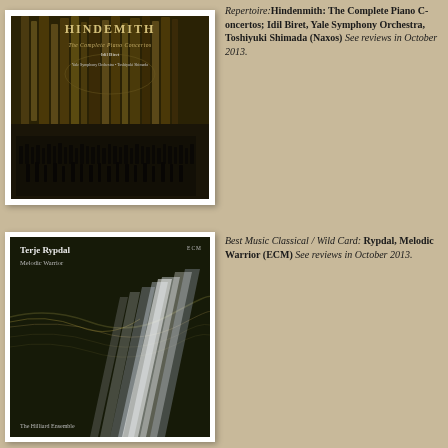[Figure (photo): Album cover for Hindemith: The Complete Piano Concertos, featuring Idil Biret, Yale Symphony Orchestra, Toshiyuki Shimada. Shows organ pipes and orchestra on a Naxos label.]
Repertoire: Hindemith: The Complete Piano Concertos; Idil Biret, Yale Symphony Orchestra, Toshiyuki Shimada (Naxos) See review in October 2013.
[Figure (photo): Album cover for Terje Rypdal: Melodic Warrior, featuring The Hilliard Ensemble. ECM label. Dark abstract image with light streaks.]
Best Music Classical / Wild Card: Terje Rypdal, Melodic Warrior (ECM) See review in October 2013.